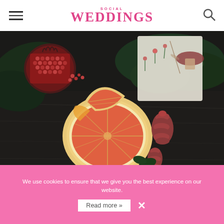SOCIAL WEDDINGS
[Figure (photo): Close-up photo of sliced grapefruit, pomegranate, pine cones, and green moss arranged on a dark wooden surface with a decorative botanical illustration in the background.]
ANITA ELLISTON
With micro-weddings and more intimate celebrations on the rise, this is naturally reflected in the wedding cakes we are seeing.
We use cookies to ensure that we give you the best experience on our website.